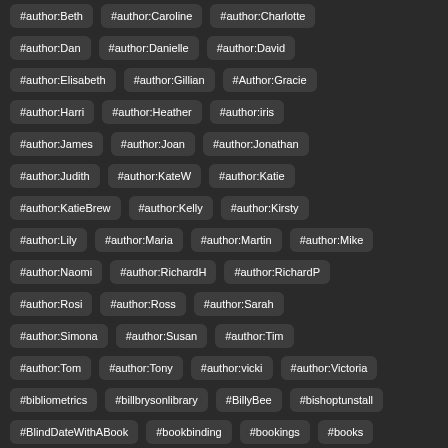#author:Beth
#author:Caroline
#author:Charlotte
#author:Dan
#author:Danielle
#author:David
#author:Elisabeth
#author:Gillian
#Author:Gracie
#author:Harri
#author:Heather
#author:iris
#author:James
#author:Joan
#author:Jonathan
#author:Judith
#author:KateW
#author:Katie
#author:KatieBrew
#author:Kelly
#author:Kirsty
#author:Lily
#author:Maria
#author:Martin
#author:Mike
#author:Naomi
#author:RichardH
#author:RichardP
#author:Rosi
#author:Ross
#author:Sarah
#author:Simona
#author:Susan
#author:Tim
#author:Tom
#author:Tony
#author:vicki
#author:Victoria
#bibliometrics
#billbrysonlibrary
#BillyBee
#bishoptunstall
#BlindDateWithABook
#bookbinding
#bookings
#books